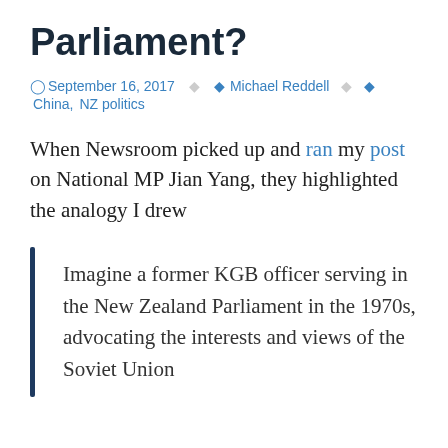Parliament?
September 16, 2017   Michael Reddell   China, NZ politics
When Newsroom picked up and ran my post on National MP Jian Yang, they highlighted the analogy I drew
Imagine a former KGB officer serving in the New Zealand Parliament in the 1970s, advocating the interests and views of the Soviet Union